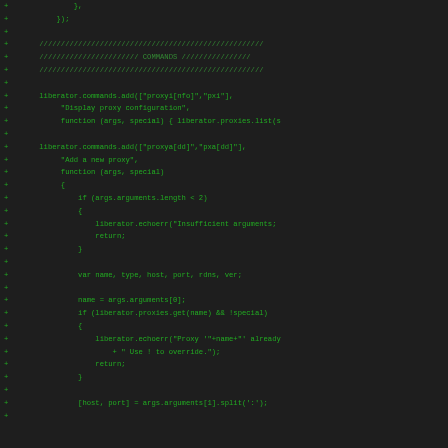Diff/code view showing added lines of JavaScript code for liberator proxy commands